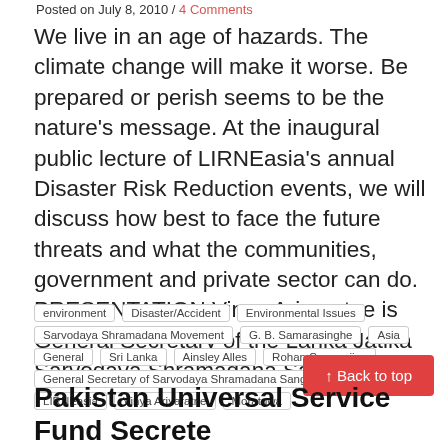Posted on July 8, 2010 / 4 Comments
We live in an age of hazards. The climate change will make it worse. Be prepared or perish seems to be the nature's message. At the inaugural public lecture of LIRNEasia's annual Disaster Risk Reduction events, we will discuss how best to face the future threats and what the communities, government and private sector can do. PRESENTATION Vinya Ariyaratne is General Secretary of the Lanka Jatika Sarvodaya Shramadana Sangamaya.
environment
Disaster/Accident
Environmental Issues
Sarvodaya Shramadana Movement
G. B. Samarasinghe
Asia
General
Sri Lanka
Ainsley Alles
Rohan Samarajiva
General Secretary of Sarvodaya Shramadana Sangamaya
LIRNEasia
Vinya Ariyaratne
Moratuwa
↑ Back to top
Pakistan Universal Service Fund Secrete